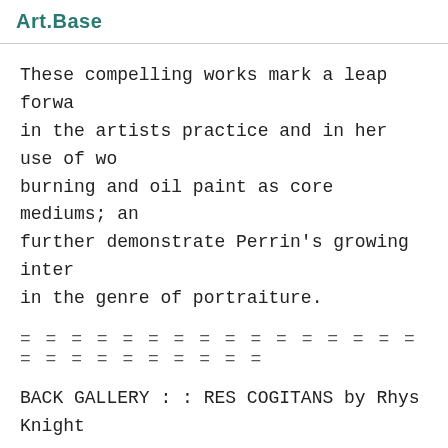Art.Base
These compelling works mark a leap forward in the artists practice and in her use of wood burning and oil paint as core mediums; and further demonstrate Perrin's growing interest in the genre of portraiture.
= = = = = = = = = = = = = = = = = = = = = = = = = =
BACK GALLERY : : RES COGITANS by Rhys Knight
Based upon Descartes' theory of dualism throughout the 17th century, 'Res Cogitans' is a modern exploration of the dichotomy between mind and body (spirit and matter) and the subsequent alienation one...